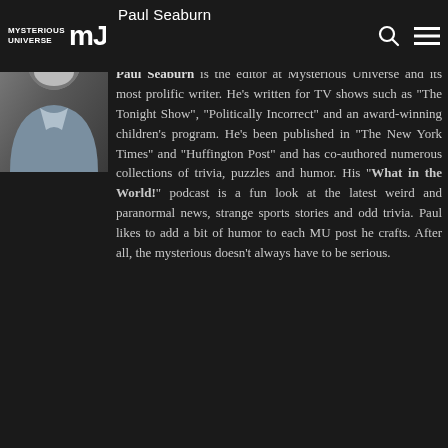Mysterious Universe [logo] Paul Seaburn [search icon] [menu icon]
[Figure (photo): Headshot photo of Paul Seaburn, an older man with a white beard wearing a light blue shirt, against a blurred background]
Paul Seaburn
Paul Seaburn is the editor at Mysterious Universe and its most prolific writer. He's written for TV shows such as "The Tonight Show", "Politically Incorrect" and an award-winning children's program. He's been published in "The New York Times" and "Huffington Post" and has co-authored numerous collections of trivia, puzzles and humor. His "What in the World!" podcast is a fun look at the latest weird and paranormal news, strange sports stories and odd trivia. Paul likes to add a bit of humor to each MU post he crafts. After all, the mysterious doesn't always have to be serious.